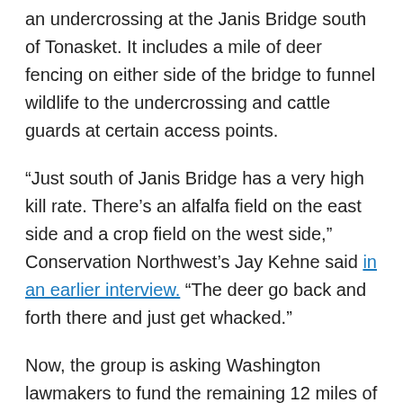an undercrossing at the Janis Bridge south of Tonasket. It includes a mile of deer fencing on either side of the bridge to funnel wildlife to the undercrossing and cattle guards at certain access points.
“Just south of Janis Bridge has a very high kill rate. There’s an alfalfa field on the east side and a crop field on the west side,” Conservation Northwest’s Jay Kehne said in an earlier interview. “The deer go back and forth there and just get whacked.”
Now, the group is asking Washington lawmakers to fund the remaining 12 miles of the Safe Passage project through the 2021 transportation budget. Phase two and phase three would cost an estimated $3.78 million and $3.81 million…